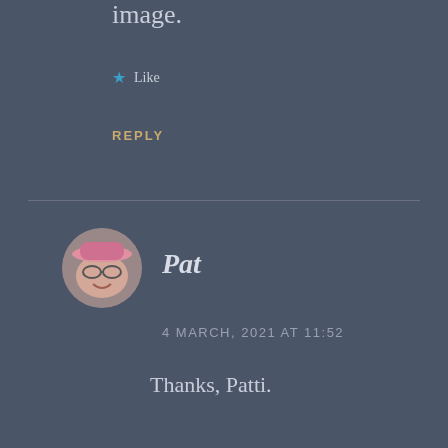image.
★ Like
REPLY
Pat
4 MARCH, 2021 AT 11:52
Thanks, Patti.